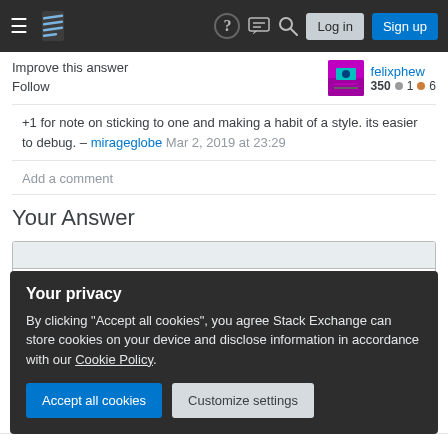[Figure (screenshot): Stack Exchange navigation bar with hamburger menu, logo, help icon, chat icon, search icon, Log in and Sign up buttons on dark background]
Improve this answer
Follow
felixphew 350 ● 1 ● 6
+1 for note on sticking to one and making a habit of a style. its easier to debug. – mirageglobe Mar 2, 2019 at 23:29
Add a comment
Your Answer
Your privacy
By clicking "Accept all cookies", you agree Stack Exchange can store cookies on your device and disclose information in accordance with our Cookie Policy.
Accept all cookies
Customize settings